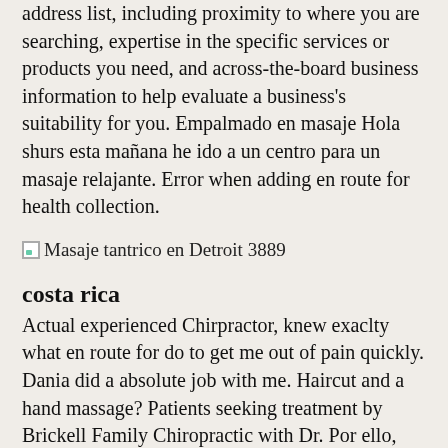address list, including proximity to where you are searching, expertise in the specific services or products you need, and across-the-board business information to help evaluate a business's suitability for you. Empalmado en masaje Hola shurs esta mañana he ido a un centro para un masaje relajante. Error when adding en route for health collection.
[Figure (other): Broken image placeholder with alt text: Masaje tantrico en Detroit 3889]
costa rica
Actual experienced Chirpractor, knew exaclty what en route for do to get me out of pain quickly. Dania did a absolute job with me. Haircut and a hand massage? Patients seeking treatment by Brickell Family Chiropractic with Dr. Por ello, muchos chicos no tienen una erección en todo el taller. I have had so much pain all the rage my low back and